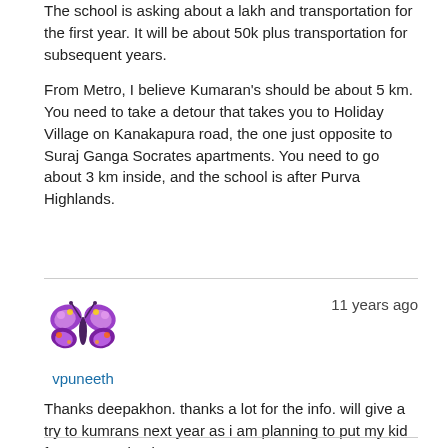The school is asking about a lakh and transportation for the first year. It will be about 50k plus transportation for subsequent years.
From Metro, I believe Kumaran's should be about 5 km. You need to take a detour that takes you to Holiday Village on Kanakapura road, the one just opposite to Suraj Ganga Socrates apartments. You need to go about 3 km inside, and the school is after Purva Highlands.
11 years ago
[Figure (illustration): Colorful butterfly avatar icon for user vpuneeth]
vpuneeth
Thanks deepakhon. thanks a lot for the info. will give a try to kumrans next year as i am planning to put my kid for next academic year.